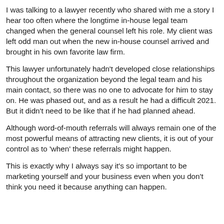I was talking to a lawyer recently who shared with me a story I hear too often where the longtime in-house legal team changed when the general counsel left his role. My client was left odd man out when the new in-house counsel arrived and brought in his own favorite law firm.
This lawyer unfortunately hadn't developed close relationships throughout the organization beyond the legal team and his main contact, so there was no one to advocate for him to stay on. He was phased out, and as a result he had a difficult 2021. But it didn't need to be like that if he had planned ahead.
Although word-of-mouth referrals will always remain one of the most powerful means of attracting new clients, it is out of your control as to 'when' these referrals might happen.
This is exactly why I always say it's so important to be marketing yourself and your business even when you don't think you need it because anything can happen.